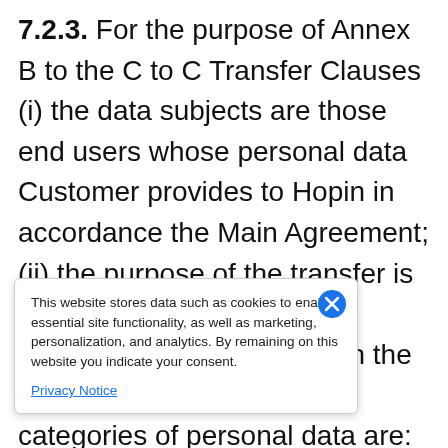7.2.3. For the purpose of Annex B to the C to C Transfer Clauses (i) the data subjects are those end users whose personal data Customer provides to Hopin in accordance the Main Agreement; (ii) the purpose of the transfer is to permit provision of the Services in accordance with the Main Agreement; (iii) the categories of personal data are: Participant Data; (iv) the recipients of the personal data are Hopin and as [partially obscured]ment; (v) it is not [partially obscured]ta will be transferred; [partially obscured]ta registration [partially obscured] additional useful information, and (viii) the contact points for data
This website stores data such as cookies to enable essential site functionality, as well as marketing, personalization, and analytics. By remaining on this website you indicate your consent.

Privacy Notice